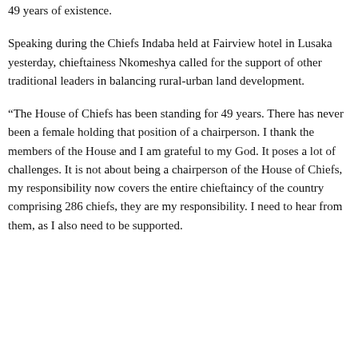49 years of existence.
Speaking during the Chiefs Indaba held at Fairview hotel in Lusaka yesterday, chieftainess Nkomeshya called for the support of other traditional leaders in balancing rural-urban land development.
“The House of Chiefs has been standing for 49 years. There has never been a female holding that position of a chairperson. I thank the members of the House and I am grateful to my God. It poses a lot of challenges. It is not about being a chairperson of the House of Chiefs, my responsibility now covers the entire chieftaincy of the country comprising 286 chiefs, they are my responsibility. I need to hear from them, as I also need to be supported.